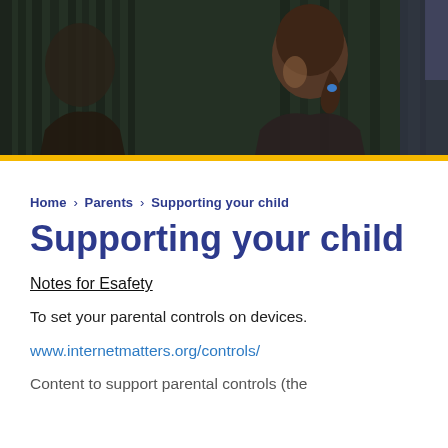[Figure (photo): Dark photograph of children, showing a girl with brown hair in a ponytail with a blue hair tie, viewed from behind/side, against dark background]
Home > Parents > Supporting your child
Supporting your child
Notes for Esafety
To set your parental controls on devices.
www.internetmatters.org/controls/
Content to support parental controls (the page cuts off)